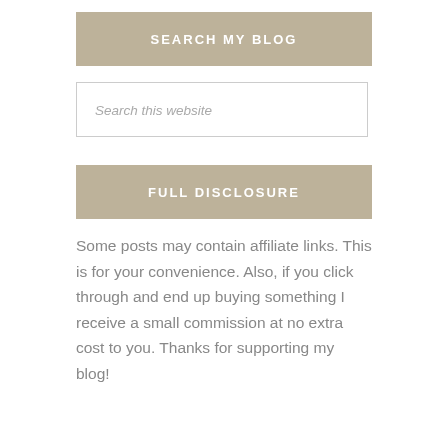SEARCH MY BLOG
Search this website
FULL DISCLOSURE
Some posts may contain affiliate links. This is for your convenience. Also, if you click through and end up buying something I receive a small commission at no extra cost to you. Thanks for supporting my blog!